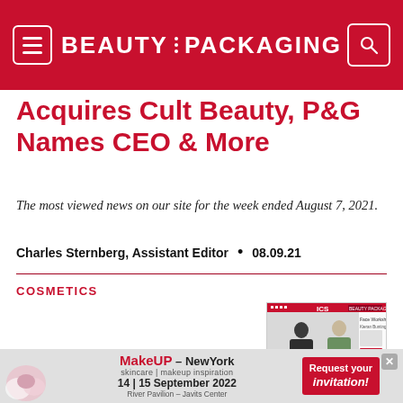BEAUTY PACKAGING
Acquires Cult Beauty, P&G Names CEO & More
The most viewed news on our site for the week ended August 7, 2021.
Charles Sternberg, Assistant Editor  •  08.09.21
COSMETICS
[Figure (screenshot): Thumbnail image showing two people at a conference table, with ICS and Beauty Packaging logos visible]
Videobite: International
[Figure (other): Advertisement banner for MakeUp NewYork event, 14|15 September 2022, River Pavilion - Javits Center, with Request your invitation call to action]